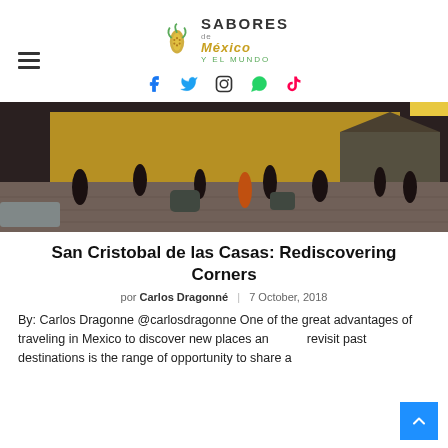SABORES de México Y EL MUNDO
[Figure (logo): Sabores de Mexico y el Mundo logo with corn icon and stylized text]
[Figure (other): Hamburger menu icon (three horizontal lines)]
[Figure (other): Social media icons: Facebook, Twitter, Instagram, WhatsApp, TikTok]
[Figure (photo): Street scene in San Cristobal de las Casas showing a public plaza with people walking and yellow colonial buildings in background]
San Cristobal de las Casas: Rediscovering Corners
por Carlos Dragonné  |  7 October, 2018
By: Carlos Dragonne @carlosdragonne One of the great advantages of traveling in Mexico to discover new places and revisit past destinations is the range of opportunity to share a